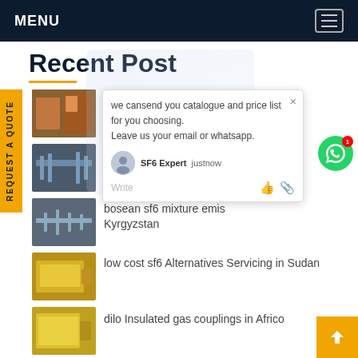MENU
Recent Post
Cambridge filter in Turk
Rapidox End of Life Servi d
bosean sf6 mixture emis Kyrgyzstan
low cost sf6 Alternatives Servicing in Sudan
dilo Insulated gas couplings in Africo